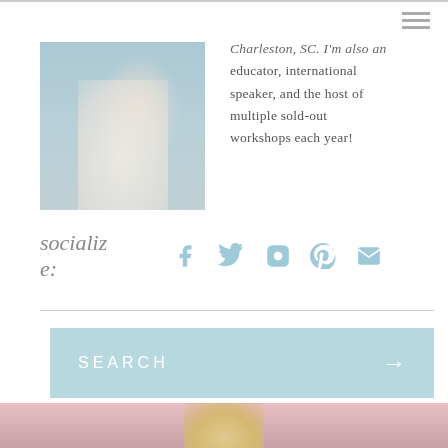[Figure (photo): Woman in white lace dress standing against a light blue background]
Charleston, SC. I'm also an educator, international speaker, and the host of multiple sold-out workshops each year!
socialize:
[Figure (infographic): Social media icons: Facebook, Twitter, Instagram, Pinterest, Email — in light blue]
[Figure (photo): Search bar with light blue background, text SEARCH and right arrow]
[Figure (photo): Partial photo of a blonde woman at bottom of page with pink/blush background]